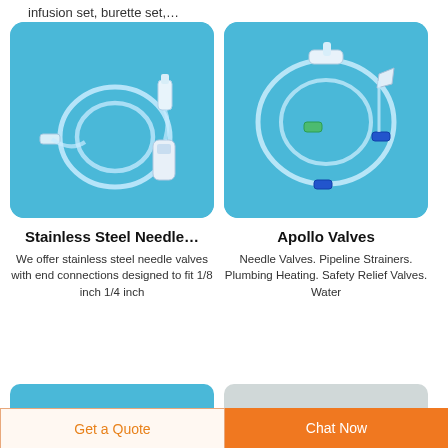infusion set, burette set,…
[Figure (photo): IV infusion set with clear tubing coiled on a blue background]
[Figure (photo): Medical infusion set components including tubing, connectors, needles and clamp on a blue background]
Stainless Steel Needle…
We offer stainless steel needle valves with end connections designed to fit 1/8 inch 1/4 inch
Apollo Valves
Needle Valves. Pipeline Strainers. Plumbing Heating. Safety Relief Valves. Water
[Figure (photo): Blue rounded card bottom partial view]
[Figure (photo): Gray rounded card bottom partial view]
Get a Quote
Chat Now